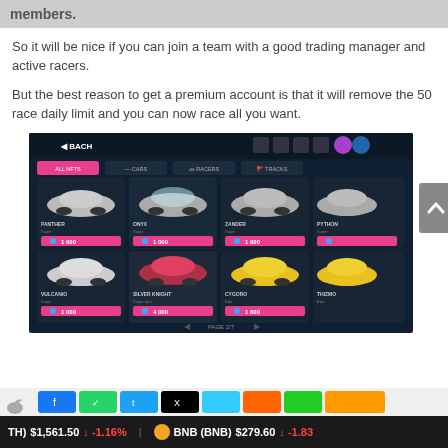members.
So it will be nice if you can join a team with a good trading manager and active racers.
But the best reason to get a premium account is that it will remove the 50 race daily limit and you can now race all you want.
[Figure (screenshot): Game screenshot showing a car marketplace interface with multiple super cars listed including PANTHER, ONYX, ZANDER, PYTHON, VULCANIO, SILVER KNIGHT, CYGORO, THIZMO. Each car shows a price with blue gem icon around 1000-4000. Interface header shows BACH with navigation tabs ALL NFTS, CARS, RACERS, TRACKS. Page 2/7 shown at bottom.]
TH) $1,561.50 ↓ -1.16% BNB (BNB) $279.60 ↓ -1.83